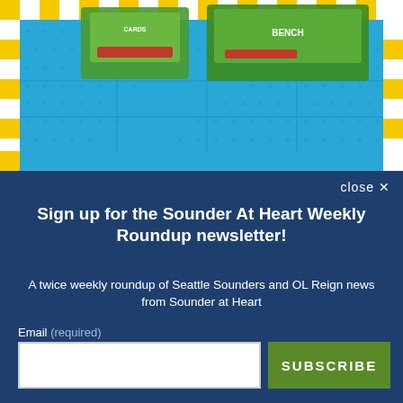[Figure (screenshot): Top portion of a webpage showing a game/product advertisement with a blue polka-dot background, yellow and white checkerboard borders, a grid layout, and game box images including a character running.]
close ×
Sign up for the Sounder At Heart Weekly Roundup newsletter!
A twice weekly roundup of Seattle Sounders and OL Reign news from Sounder at Heart
Email (required)
SUBSCRIBE
By submitting your email, you agree to our Terms and Privacy Notice. You can opt out at any time. This site is protected by reCAPTCHA and the Google Privacy Policy and Terms of Service apply.